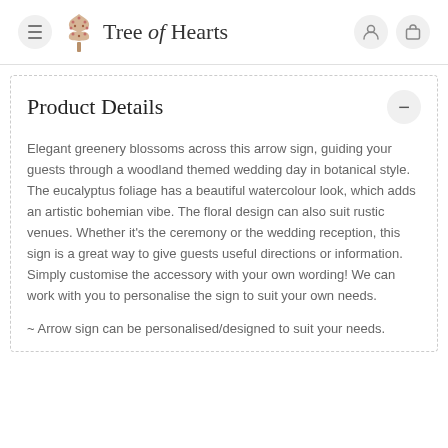Tree of Hearts
Product Details
Elegant greenery blossoms across this arrow sign, guiding your guests through a woodland themed wedding day in botanical style. The eucalyptus foliage has a beautiful watercolour look, which adds an artistic bohemian vibe. The floral design can also suit rustic venues. Whether it's the ceremony or the wedding reception, this sign is a great way to give guests useful directions or information. Simply customise the accessory with your own wording! We can work with you to personalise the sign to suit your own needs.
~ Arrow sign can be personalised/designed to suit your needs.